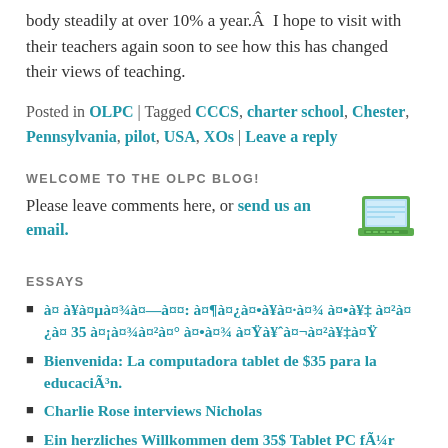body steadily at over 10% a year.Â  I hope to visit with their teachers again soon to see how this has changed their views of teaching.
Posted in OLPC | Tagged CCCS, charter school, Chester, Pennsylvania, pilot, USA, XOs | Leave a reply
WELCOME TO THE OLPC BLOG!
Please leave comments here, or send us an email.
[Figure (illustration): Green OLPC laptop illustration]
ESSAYS
à¤ à¥à¤µà¤¾à¤—à¤¤: à¤¶à¤¿à¤•à¥à¤·à¤¾ à¤•à¥‡ à¤²à¤¿à¤ 35 à¤¡à¤¾à¤²à¤° à¤•à¤¾ à¤Ÿà¥ˆà¤¬à¤²à¥‡à¤Ÿ
Bienvenida: La computadora tablet de $35 para la educaciÃ³n.
Charlie Rose interviews Nicholas
Ein herzliches Willkommen dem 35$ Tablet PC fÃ¼r Bildung
Exploring sustainable education